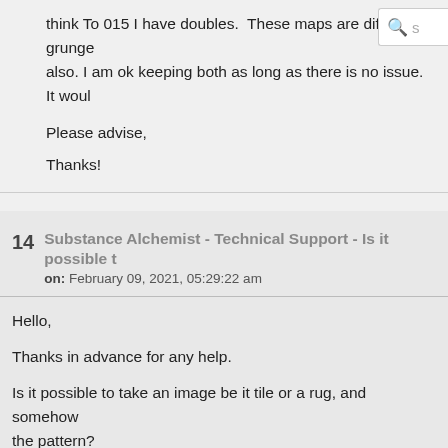[Figure (screenshot): Search bar icon in top right corner]
think To 015 I have doubles.  These maps are different grunge also. I am ok keeping both as long as there is no issue.  It woul
Please advise,
Thanks!
14  Substance Alchemist - Technical Support - Is it possible t
on: February 09, 2021, 05:29:22 am
Hello,
Thanks in advance for any help.
Is it possible to take an image be it tile or a rug, and somehow the pattern?
I am searching for a way to quickly create real world manufact used Alchemist enough to know if this can be done?
Please see attached.  I have tried a few images quickly and th